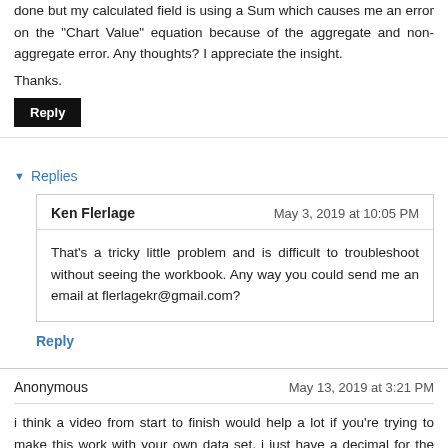done but my calculated field is using a Sum which causes me an error on the "Chart Value" equation because of the aggregate and non-aggregate error. Any thoughts? I appreciate the insight.
Thanks.
Reply
Replies
Ken Flerlage
May 3, 2019 at 10:05 PM
That's a tricky little problem and is difficult to troubleshoot without seeing the workbook. Any way you could send me an email at flerlagekr@gmail.com?
Reply
Anonymous
May 13, 2019 at 3:21 PM
i think a video from start to finish would help a lot if you're trying to make this work with your own data set. i just have a decimal for the monthly figure as my result and the 5